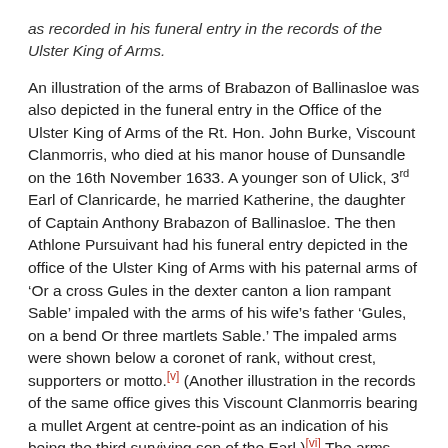as recorded in his funeral entry in the records of the Ulster King of Arms.
An illustration of the arms of Brabazon of Ballinasloe was also depicted in the funeral entry in the Office of the Ulster King of Arms of the Rt. Hon. John Burke, Viscount Clanmorris, who died at his manor house of Dunsandle on the 16th November 1633. A younger son of Ulick, 3rd Earl of Clanricarde, he married Katherine, the daughter of Captain Anthony Brabazon of Ballinasloe. The then Athlone Pursuivant had his funeral entry depicted in the office of the Ulster King of Arms with his paternal arms of ‘Or a cross Gules in the dexter canton a lion rampant Sable’ impaled with the arms of his wife’s father ‘Gules, on a bend Or three martlets Sable.’ The impaled arms were shown below a coronet of rank, without crest, supporters or motto.[v] (Another illustration in the records of the same office gives this Viscount Clanmorris bearing a mullet Argent at centre-point as an indication of his being the third surviving son of the Earl.)[vi] The arms representing Katherine’s family in Viscount Clanmorris’s arms did not display her father’s